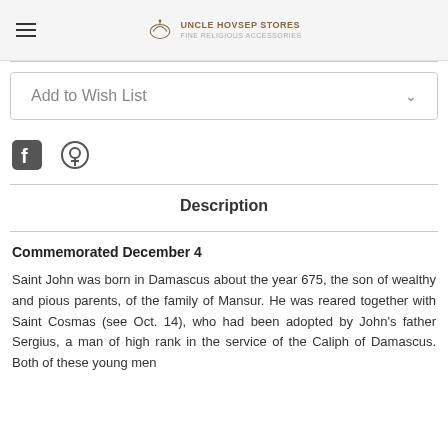Uncle Hovsep Stores
Add to Wish List
[Figure (logo): Facebook icon]
[Figure (logo): Pinterest icon]
Description
Commemorated December 4
Saint John was born in Damascus about the year 675, the son of wealthy and pious parents, of the family of Mansur. He was reared together with Saint Cosmas (see Oct. 14), who had been adopted by John's father Sergius, a man of high rank in the service of the Caliph of Damascus. Both of these young men